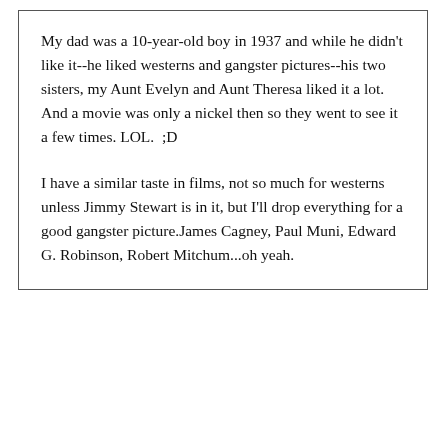My dad was a 10-year-old boy in 1937 and while he didn't like it--he liked westerns and gangster pictures--his two sisters, my Aunt Evelyn and Aunt Theresa liked it a lot. And a movie was only a nickel then so they went to see it a few times. LOL.  ;D
I have a similar taste in films, not so much for westerns unless Jimmy Stewart is in it, but I'll drop everything for a good gangster picture.James Cagney, Paul Muni, Edward G. Robinson, Robert Mitchum...oh yeah.